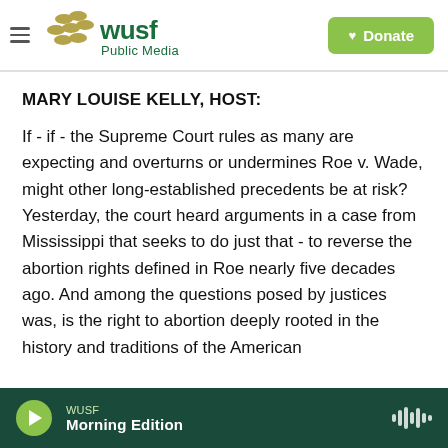WUSF Public Media — Donate
MARY LOUISE KELLY, HOST:
If - if - the Supreme Court rules as many are expecting and overturns or undermines Roe v. Wade, might other long-established precedents be at risk? Yesterday, the court heard arguments in a case from Mississippi that seeks to do just that - to reverse the abortion rights defined in Roe nearly five decades ago. And among the questions posed by justices was, is the right to abortion deeply rooted in the history and traditions of the American
WUSF — Morning Edition